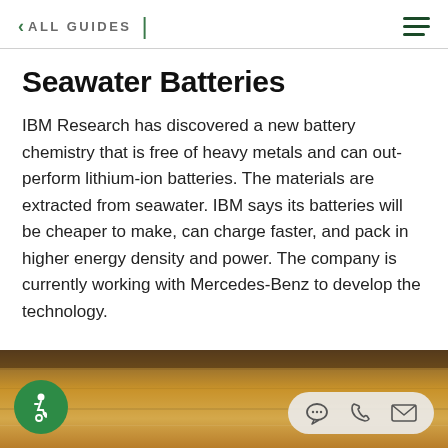< ALL GUIDES
Seawater Batteries
IBM Research has discovered a new battery chemistry that is free of heavy metals and can out-perform lithium-ion batteries. The materials are extracted from seawater. IBM says its batteries will be cheaper to make, can charge faster, and pack in higher energy density and power. The company is currently working with Mercedes-Benz to develop the technology.
[Figure (photo): Bottom portion of page showing a sandy/warm-toned textured surface, partially visible, with an accessibility icon button (green circle with wheelchair symbol) in the bottom-left and a contact/action bar (chat, phone, mail icons) in the bottom-right.]